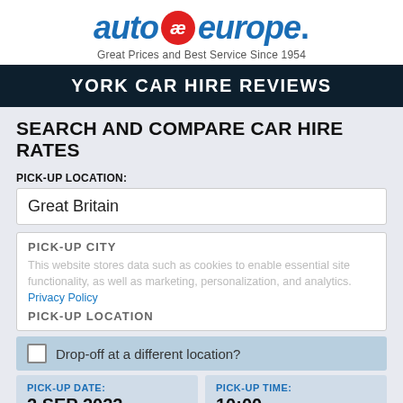[Figure (logo): Auto Europe logo with red circular badge and tagline 'Great Prices and Best Service Since 1954']
YORK CAR HIRE REVIEWS
SEARCH AND COMPARE CAR HIRE RATES
PICK-UP LOCATION:
Great Britain
PICK-UP CITY
PICK-UP LOCATION
This website stores data such as cookies to enable essential site functionality, as well as marketing, personalization, and analytics. Privacy Policy
Drop-off at a different location?
PICK-UP DATE: 2 SEP 2022
PICK-UP TIME: 10:00
DROP-OFF DATE:
DROP-OFF TIME: